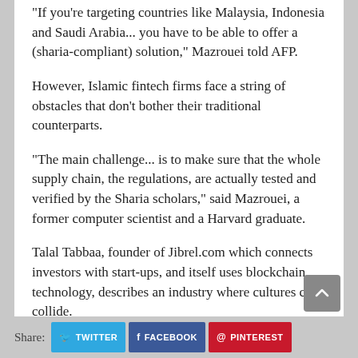"If you're targeting countries like Malaysia, Indonesia and Saudi Arabia... you have to be able to offer a (sharia-compliant) solution," Mazrouei told AFP.
However, Islamic fintech firms face a string of obstacles that don't bother their traditional counterparts.
"The main challenge... is to make sure that the whole supply chain, the regulations, are actually tested and verified by the Sharia scholars," said Mazrouei, a former computer scientist and a Harvard graduate.
Talal Tabbaa, founder of Jibrel.com which connects investors with start-ups, and itself uses blockchain technology, describes an industry where cultures can collide.
The approach of some Muslim scholars who approve financial products "is not technological, it is very manual and, in my opinion, subjective," he said.
© The Jakarta Post
Share: TWITTER FACEBOOK PINTEREST